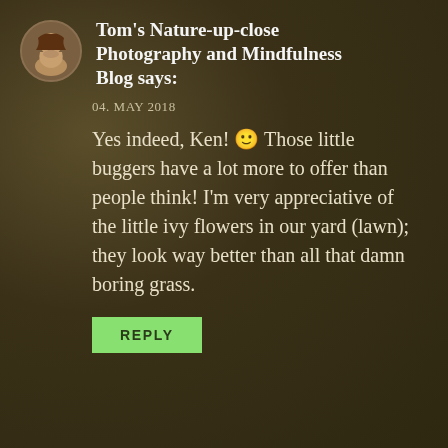Tom's Nature-up-close Photography and Mindfulness Blog says:
04. MAY 2018
Yes indeed, Ken! 🙂 Those little buggers have a lot more to offer than people think! I'm very appreciative of the little ivy flowers in our yard (lawn); they look way better than all that damn boring grass.
REPLY